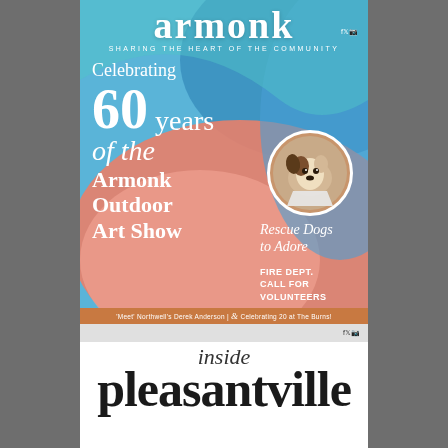[Figure (illustration): Armonk magazine cover with colorful abstract swirling background in blue, teal, and coral/pink. Features magazine title 'armonk', tagline 'SHARING THE HEART OF THE COMMUNITY', main story about '60 years of the Armonk Outdoor Art Show', circular photo of a rescue dog, text 'Rescue Dogs to Adore', and 'FIRE DEPT. CALL FOR VOLUNTEERS'.]
armonk
SHARING THE HEART OF THE COMMUNITY
Celebrating 60 years of the Armonk Outdoor Art Show
Rescue Dogs to Adore
FIRE DEPT. CALL FOR VOLUNTEERS
[Figure (illustration): Bottom portion showing Inside Pleasantville magazine cover strip with orange banner reading 'Meet Northwell's Derek Anderson | Celebrating 20 at The Burns!' and large text 'inside pleasantville']
'Meet' Northwell's Derek Anderson | Celebrating 20 at The Burns!
inside pleasantville